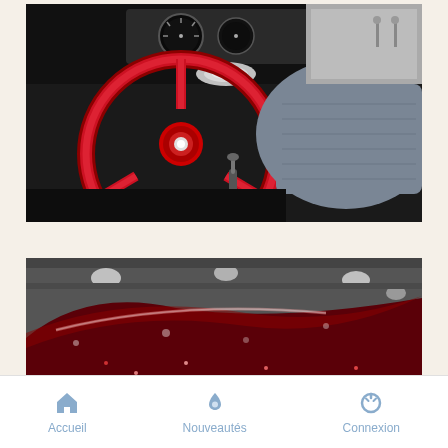[Figure (photo): Close-up photo of a classic car interior showing a red metallic steering wheel, dashboard gauges, gear shift, and gray bench seat upholstery.]
[Figure (photo): Close-up photo of a classic car's red metallic glitter paint finish on the body panel, shot at a car show with blurred background lighting.]
Accueil   Nouveautés   Connexion